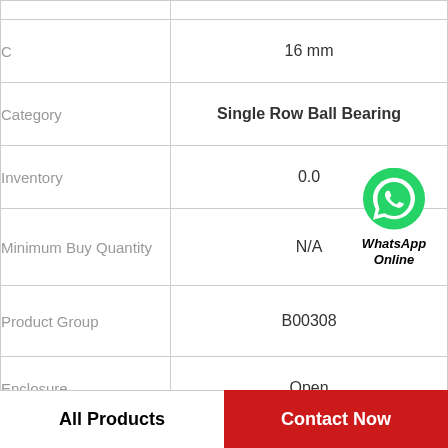| Property | Value |
| --- | --- |
| C | 16 mm |
| Category | Single Row Ball Bearing |
| Inventory | 0.0 |
| Minimum Buy Quantity | N/A |
| Product Group | B00308 |
| Enclosure | Open |
| Precision Class | ABEC 1 | ISO P0 |
| Maximum Capacity / |  |
All Products
Contact Now